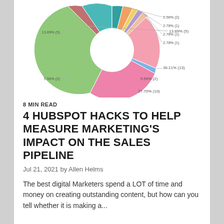[Figure (donut-chart): ]
8 MIN READ
4 HUBSPOT HACKS TO HELP MEASURE MARKETING'S IMPACT ON THE SALES PIPELINE
Jul 21, 2021 by Allen Helms
The best digital Marketers spend a LOT of time and money on creating outstanding content, but how can you tell whether it is making a...